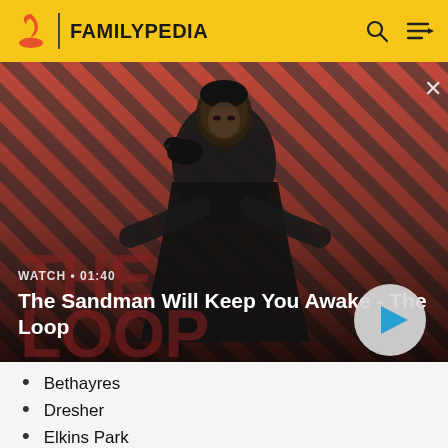FAMILYPEDIA
[Figure (screenshot): Video thumbnail for 'The Sandman Will Keep You Awake - The Loop' showing a dark-cloaked figure with a raven on a striped red/dark background. Shows WATCH • 01:40 label and a play button.]
The Sandman Will Keep You Awake - The Loop
Bethayres
Dresher
Elkins Park
Frederick, a village in New Hanover Township.[23]
Graterford